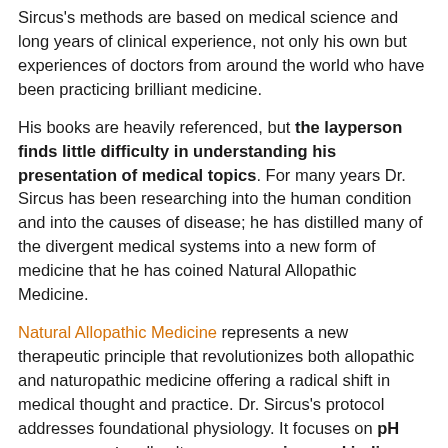Sircus's methods are based on medical science and long years of clinical experience, not only his own but experiences of doctors from around the world who have been practicing brilliant medicine.
His books are heavily referenced, but the layperson finds little difficulty in understanding his presentation of medical topics. For many years Dr. Sircus has been researching into the human condition and into the causes of disease; he has distilled many of the divergent medical systems into a new form of medicine that he has coined Natural Allopathic Medicine.
Natural Allopathic Medicine represents a new therapeutic principle that revolutionizes both allopathic and naturopathic medicine offering a radical shift in medical thought and practice. Dr. Sircus's protocol addresses foundational physiology. It focuses on pH management, cell voltage, magnesium and iodine medicine, cannabinoid medicine, carbon dioxide medicine, re-mineralization of the body, increasing oxygen transport and oxygenation of the tissues, opening up of blood vessels, saturation and